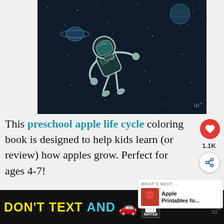[Figure (illustration): Dark space scene with an astronaut floating in zero gravity, wearing a white spacesuit, surrounded by stars. Saturn-like planet visible on the left, another planet on the upper right. Line-art style illustration on dark background.]
This preschool apple life cycle coloring book is designed to help kids learn (or review) how apples grow. Perfect for ages 4-7!
[Figure (infographic): Advertisement banner: DON'T TEXT AND [car emoji] with ad and NHTSA logos on black background]
[Figure (screenshot): WHAT'S NEXT arrow - Apple Printables fo... thumbnail with red image]